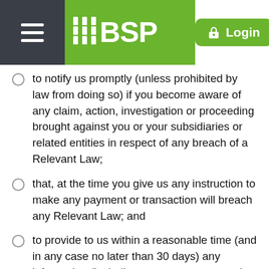BSP Login
to notify us promptly (unless prohibited by law from doing so) if you become aware of any claim, action, investigation or proceeding brought against you or your subsidiaries or related entities in respect of any breach of a Relevant Law;
that, at the time you give us any instruction to make any payment or transaction will breach any Relevant Law; and
to provide to us within a reasonable time (and in any case no later than 30 days) any information (including proper accounts and records) we may reasonably require from time to time to manage the risks of money laundering and terrorist financing to comply with Relevant Laws and to allow us to discharge our duties, obligations and